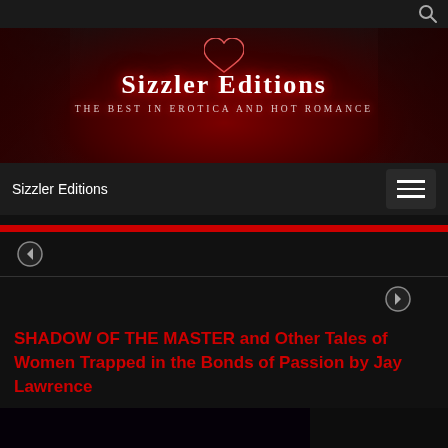[Figure (illustration): Sizzler Editions website screenshot showing a dark red banner with the text 'Sizzler Editions – The Best in Erotica and Hot Romance', a navigation bar, red divider bar, back/forward arrows, and a post title.]
Sizzler Editions
SHADOW OF THE MASTER and Other Tales of Women Trapped in the Bonds of Passion by Jay Lawrence